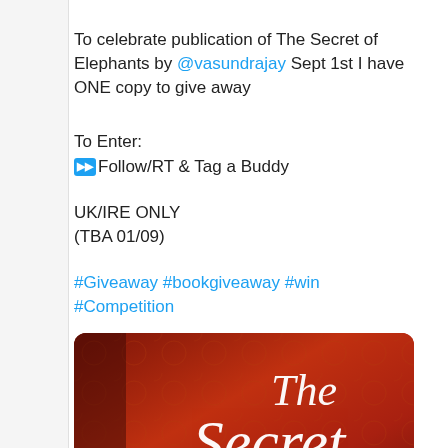To celebrate publication of The Secret of Elephants by @vasundrajay Sept 1st I have ONE copy to give away
To Enter:
▶▶Follow/RT & Tag a Buddy
UK/IRE ONLY
(TBA 01/09)
#Giveaway #bookgiveaway #win #Competition
[Figure (photo): Photo of a book cover for 'The Secret of' displayed on a white tablet or book surface, with red/brown cover and white cursive script text reading 'The Secret of']
FMcM